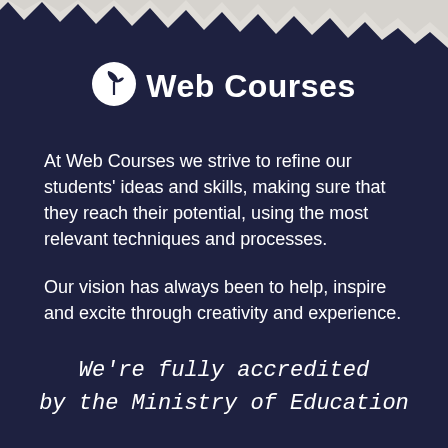[Figure (logo): Web Courses logo: white leaf/sprout icon inside a circle, followed by bold white text 'Web Courses']
At Web Courses we strive to refine our students' ideas and skills, making sure that they reach their potential, using the most relevant techniques and processes.

Our vision has always been to help, inspire and excite through creativity and experience.
We're fully accredited by the Ministry of Education